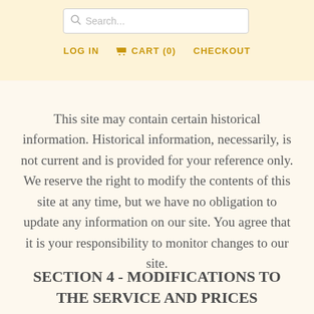Search... | LOG IN | CART (0) | CHECKOUT
This site may contain certain historical information. Historical information, necessarily, is not current and is provided for your reference only. We reserve the right to modify the contents of this site at any time, but we have no obligation to update any information on our site. You agree that it is your responsibility to monitor changes to our site.
SECTION 4 - MODIFICATIONS TO THE SERVICE AND PRICES